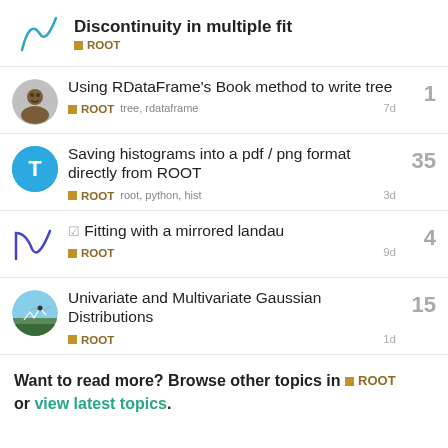Discontinuity in multiple fit — ROOT
Using RDataFrame's Book method to write tree — ROOT tree, rdataframe — 1 reply — 7d
Saving histograms into a pdf / png format directly from ROOT — ROOT root, python, hist — 35 replies — 3d
Fitting with a mirrored landau — ROOT — 4 replies — 9d
Univariate and Multivariate Gaussian Distributions — ROOT — 15 replies — 1d
Want to read more? Browse other topics in ROOT or view latest topics.